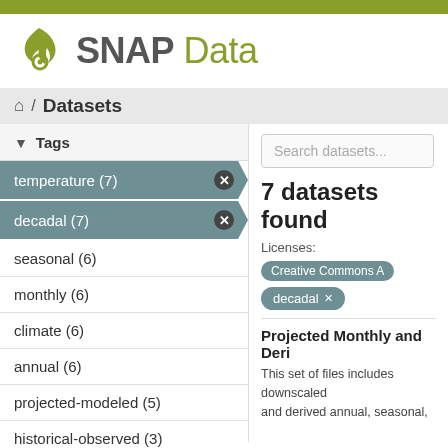[Figure (logo): SNAP Data logo with stylized flame/pin icon in olive green and gray, followed by bold gray SNAP text and olive green Data text]
/ Datasets
Tags
temperature (7)
decadal (7)
seasonal (6)
monthly (6)
climate (6)
annual (6)
projected-modeled (5)
historical-observed (3)
Search datasets...
7 datasets found
Licenses: Creative Commons A
decadal ✕
Projected Monthly and Deri
This set of files includes downscaled and derived annual, seasonal,